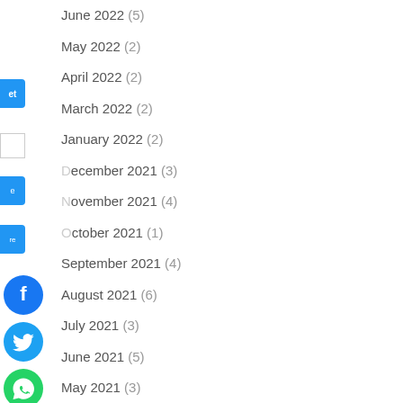June 2022 (5)
May 2022 (2)
April 2022 (2)
March 2022 (2)
January 2022 (2)
December 2021 (3)
November 2021 (4)
October 2021 (1)
September 2021 (4)
August 2021 (6)
July 2021 (3)
June 2021 (5)
May 2021 (3)